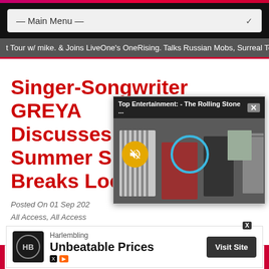— Main Menu —
t Tour w/ mike. & Joins LiveOne's OneRising. Talks Russian Mobs, Surreal To
Singer-Songwriter GREYA Discusses Her Latest Summer Si Breaks Loo
Posted On 01 Sep 202 All Access, All Access Loose, Artist Intervie
[Figure (screenshot): Video popup overlay showing 'Top Entertainment: - The Rolling Stone ...' with a thumbnail of people in a room, a mute icon (yellow circle with speaker/mute symbol), and a blue circle indicator. Close button (X) in top right.]
[Figure (screenshot): Advertisement banner for Harlembling showing logo, brand name, 'Unbeatable Prices' headline, and 'Visit Site' button with X/ad icons.]